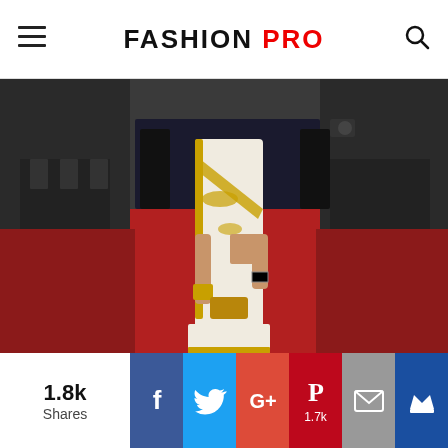FASHION PRO
[Figure (photo): A woman in a white and gold embroidered saree standing on a red carpet at what appears to be the Cannes Film Festival, with photographers in the background.]
1.8k Shares
Facebook share button
Twitter share button
Google+ share button
Pinterest share button 1.7k
Email share button
Crown/save button